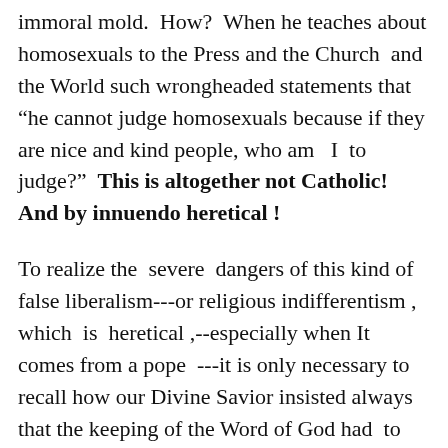immoral mold.  How?  When he teaches about homosexuals to the Press and the Church  and the World such wrongheaded statements that “he cannot judge homosexuals because if they are nice and kind people, who am   I  to judge?”  This is altogether not Catholic! And by innuendo heretical !
To realize the  severe  dangers of this kind of false liberalism---or religious indifferentism ,  which  is  heretical ,--especially when It comes from a pope  ---it is only necessary to recall how our Divine Savior insisted always that the keeping of the Word of God had  to